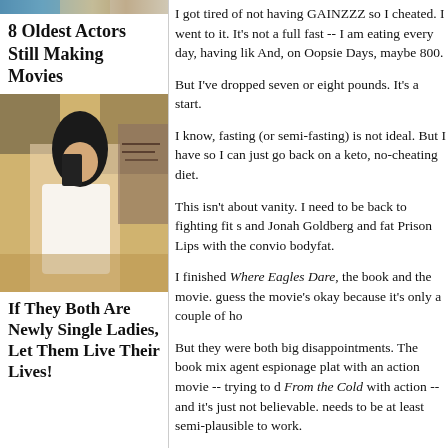[Figure (photo): Cropped top image showing faces/figures, partially visible at top of left column]
8 Oldest Actors Still Making Movies
[Figure (photo): Woman in white strapless outfit taking a mirror selfie, man with tattoos visible in background]
If They Both Are Newly Single Ladies, Let Them Live Their Lives!
I got tired of not having GAINZZZ so I cheated. I went to it. It's not a full fast -- I am eating every day, having lik And, on Oopsie Days, maybe 800.
But I've dropped seven or eight pounds. It's a start.
I know, fasting (or semi-fasting) is not ideal. But I have so I can just go back on a keto, no-cheating diet.
This isn't about vanity. I need to be back to fighting fit s and Jonah Goldberg and fat Prison Lips with the convio bodyfat.
I finished Where Eagles Dare, the book and the movie. guess the movie's okay because it's only a couple of ho
But they were both big disappointments. The book mix agent espionage plat with an action movie -- trying to d From the Cold with action -- and it's just not believable. needs to be at least semi-plausible to work.
These guys are walking around in the most heavily fort world, and the Germans know they're there, and they're will and without encountering many sentries. And even way past the guards based on their uniforms.
Even though the Germans know that there are enemy ag as Germans.
No one issued a "Detain all persons who are not known